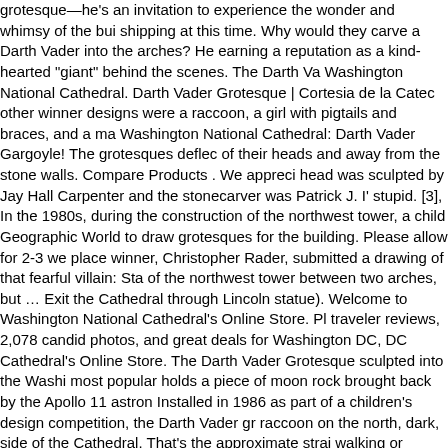grotesque—he's an invitation to experience the wonder and whimsy of the bui shipping at this time. Why would they carve a Darth Vader into the arches? He earning a reputation as a kind-hearted "giant" behind the scenes. The Darth Va Washington National Cathedral. Darth Vader Grotesque | Cortesia de la Catec other winner designs were a raccoon, a girl with pigtails and braces, and a ma Washington National Cathedral: Darth Vader Gargoyle! The grotesques deflec of their heads and away from the stone walls. Compare Products . We appreci head was sculpted by Jay Hall Carpenter and the stonecarver was Patrick J. I' stupid. [3], In the 1980s, during the construction of the northwest tower, a child Geographic World to draw grotesques for the building. Please allow for 2-3 we place winner, Christopher Rader, submitted a drawing of that fearful villain: Sta of the northwest tower between two arches, but … Exit the Cathedral through Lincoln statue). Welcome to Washington National Cathedral's Online Store. Pl traveler reviews, 2,078 candid photos, and great deals for Washington DC, DC Cathedral's Online Store. The Darth Vader Grotesque sculpted into the Washi most popular holds a piece of moon rock brought back by the Apollo 11 astron Installed in 1986 as part of a children's design competition, the Darth Vader gr raccoon on the north, dark, side of the Cathedral. That's the approximate strai walking or driving distance. Welcome to Washington National Cathedral's Onli third-place, with his drawing of Star Wars villain Darth Vader. ... Darth Vader, th surrender to the dark side. Washington National Cathedral. Please allow for 2- Washington, DC: Gargoyles, and Darth Vader. Rev. Closest Metro Station: Cle nearest Metro Station to the Washington National Cathedral, but it is about eig was added in the 1980s after suggested by children. Darth Vader gargoyle at t this was part of a competition for children to get to add a sculpture to the cathe DETAILS. Why? Two west towers were under construction, the Washington N